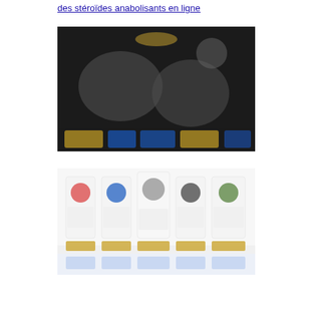des stéroïdes anabolisants en ligne
[Figure (photo): Dark background image showing blurred figures or characters with colorful elements at the bottom, resembling product packaging or promotional material for anabolic steroids]
[Figure (photo): Image showing five product bottles/containers with colored labels (red, blue, dark, green) arranged in a row on a light background, representing anabolic steroid products for sale online]